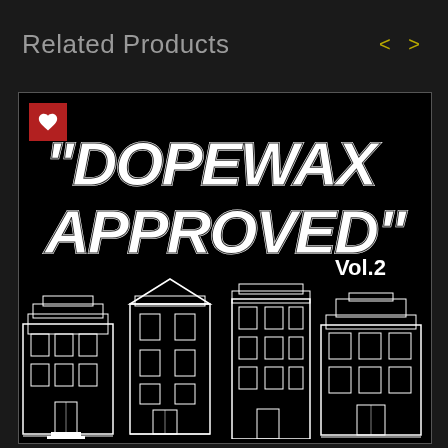Related Products
[Figure (illustration): Product card for 'Dopewax Approved Vol.2' — black background with white graffiti-style text reading "DOPEWAX APPROVED" Vol.2, and four hand-drawn white-on-black illustrations of urban brownstone/townhouse buildings arranged in a row at the bottom. A red heart/favorite button is in the top-left corner of the card.]